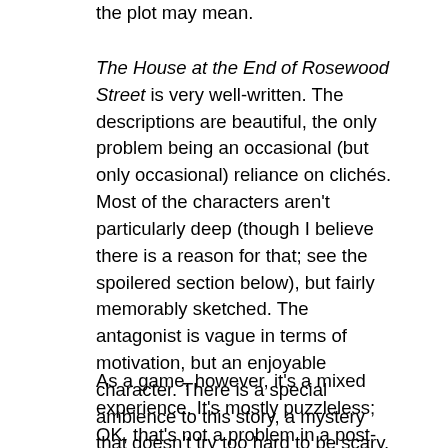the plot may mean.
The House at the End of Rosewood Street is very well-written. The descriptions are beautiful, the only problem being an occasional (but only occasional) reliance on clichés. Most of the characters aren't particularly deep (though I believe there is a reason for that; see the spoilered section below), but fairly memorably sketched. The antagonist is vague in terms of motivation, but an enjoyable character. There is a special ambience to this story, a mystery that doesn't try too hard to be scary, and the plot... well, I'd be lying if I said I understood everything that's going on in the plot. Though I have a couple of reservations, I do like it.
As a game, however, it's a mixed experience. It's mostly puzzleless; OK, that's not a problem in a post-Photopia world. But puzzleless IF still needs a hook to keep us going. Photopia itself has the exploration of the science fiction settings and the player's desire to piece together Ally's story; Galatea has a different kind